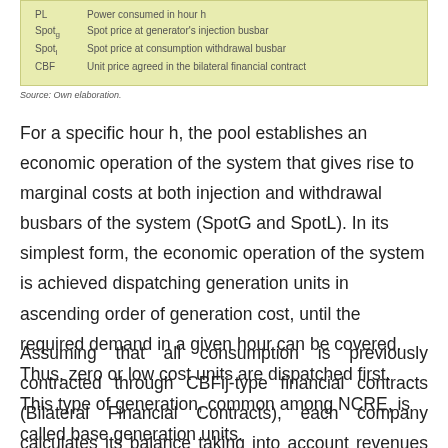| Symbol | : | Definition |
| --- | --- | --- |
| PL | : | Power consumed in hour h |
| Spotᴳ | : | Spot price at generator's injection busbar |
| Spotᴸ | : | Spot price at consumption withdrawal busbar |
| CBF | : | Unit price agreed in the bilateral financial contract |
Source: Own elaboration.
For a specific hour h, the pool establishes an economic operation of the system that gives rise to marginal costs at both injection and withdrawal busbars of the system (SpotG and SpotL). In its simplest form, the economic operation of the system is achieved dispatching generation units in ascending order of generation cost, until the required demand in a given hour can be covered. Thus, zero or low cost units are dispatched first. This type of generation, common among NCRE, is called base generation units.
Assuming that all consumption is previously contracted through CBFij-type financial contracts (Bilateral Financial Contracts), each company calculates its balance taking into account revenues for injections at the injection point, energy